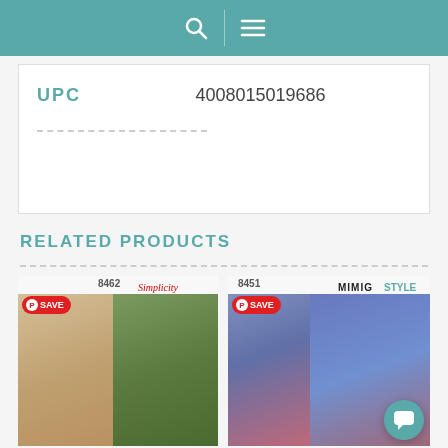Search | Menu
| Field | Value |
| --- | --- |
| UPC | 4008015019686 |
RELATED PRODUCTS
[Figure (photo): Product card for Simplicity pattern 8462 showing vintage-style dress and jacket sewing pattern with Save button]
[Figure (photo): Product card for MimiGStyle pattern 8451 showing plus-size fashion looks with Save button]